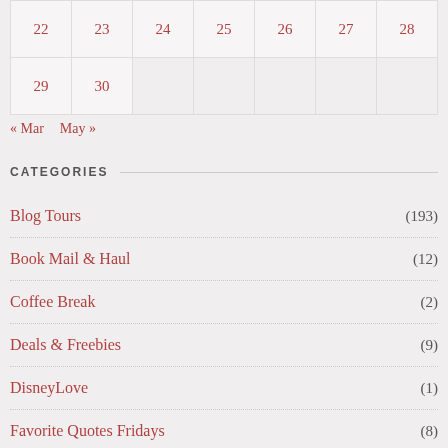| 22 | 23 | 24 | 25 | 26 | 27 | 28 |
| 29 | 30 |  |  |  |  |  |
« Mar   May »
CATEGORIES
Blog Tours (193)
Book Mail & Haul (12)
Coffee Break (2)
Deals & Freebies (9)
DisneyLove (1)
Favorite Quotes Fridays (8)